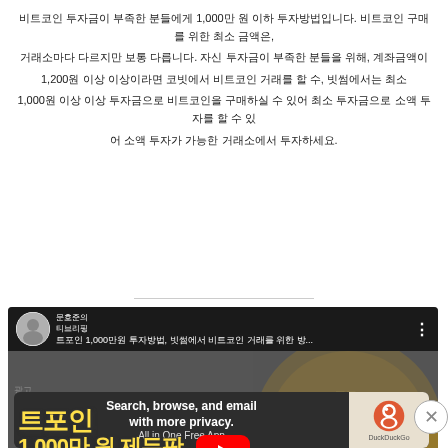비트코인 투자금이 부족한 분들에게 1,000만 원 이하 투자방법입니다. 비트코인 구매를 위한 최소 금액은, 거래소마다 다르지만 보통 다릅니다. 자신 투자금이 부족한 분들을 위해, 계좌금액이 1,200원 이상 이상이라면 코빗에서 비트코인 거래를 할 수, 빗썸에서는 최소 1,000원 이상 이상 투자금으로 비트코인을 구매하실 수 있어 최소 투자금으로 소액 투자를 할 수 있어 소액 투자가 가능한 거래소에서 투자하세요.
[Figure (screenshot): YouTube video thumbnail showing Korean finance/Bitcoin content titled '비트코인 1,000만원 투자방법, 투자방법은' with channel '문호준의 티브리핑', featuring large text '트포인 1,000만 원 제두팟, 투자 방법은!' on a dark background with Bitcoin coin and rising bar chart visuals, with a YouTube play button overlay]
광고
[Figure (screenshot): DuckDuckGo advertisement banner with text 'Search, browse, and email with more privacy.' and 'All in One Free App' button on dark background, with DuckDuckGo logo on right side]